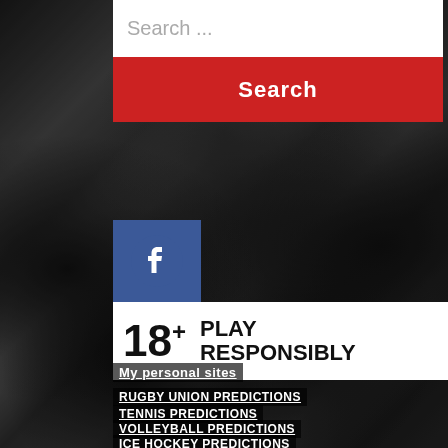[Figure (photo): Black and white photograph of a vintage American football game with players in action on the field, serving as page background]
Search ...
Search
[Figure (logo): Facebook logo icon — white 'f' on dark blue square background]
18+ PLAY RESPONSIBLY
My personal sites
RUGBY UNION PREDICTIONS
TENNIS PREDICTIONS
VOLLEYBALL PREDICTIONS
ICE HOCKEY PREDICTIONS